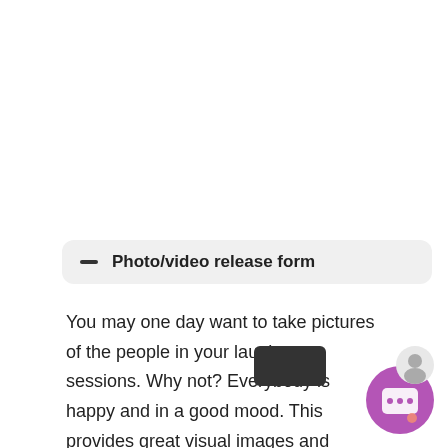Photo/video release form
You may one day want to take pictures of the people in your laughter sessions. Why not? Everybody is happy and in a good mood. This provides great visual images and could be used in your promotional material to i...
It is good pr... permission first.
Have questions or doubt?
Click to chat